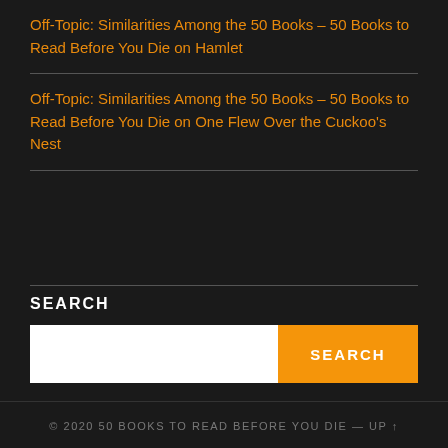Off-Topic: Similarities Among the 50 Books – 50 Books to Read Before You Die on Hamlet
Off-Topic: Similarities Among the 50 Books – 50 Books to Read Before You Die on One Flew Over the Cuckoo's Nest
SEARCH
© 2020 50 BOOKS TO READ BEFORE YOU DIE — UP ↑